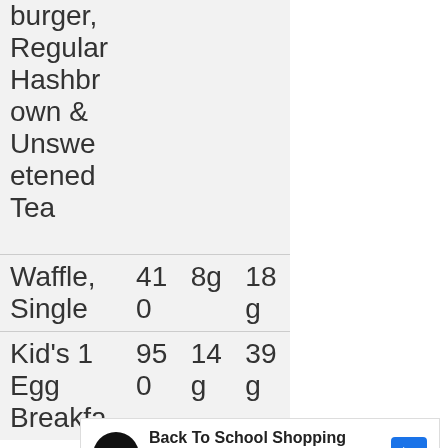| Item | Calories | Fat | Carbs |
| --- | --- | --- | --- |
| burger, Regular Hashbrown & Unsweetened Tea |  |  |  |
| Waffle, Single | 410 | 8g | 18g |
| Kid's 1 Egg Breakfa... | 950 | 14g | 39g |
[Figure (other): Advertisement banner: Back To School Shopping Deals - Leesburg Premium Outlets, with circular black logo, blue navigation arrow icon, and ad controls (play/close buttons)]